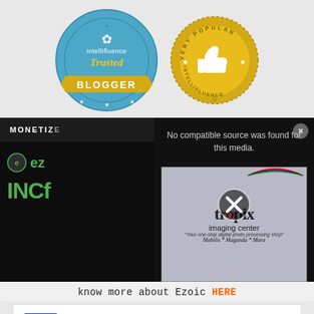[Figure (logo): Intellifluence Trusted Blogger badge - circular blue badge with gold ribbon banner]
[Figure (logo): Intellifluence Very Popular badge - gold circular badge with thumbs up icon]
[Figure (screenshot): Video player overlay showing 'No compatible source was found for this media.' with tronpix imaging center sign in background, play/X button, and close button]
know more about Ezoic HERE
[Figure (screenshot): CarMax advertisement: 'Get a Car Within Your Budget' with CarMax logo and navigation arrow icon]
[Figure (screenshot): Ad controls showing play and close (X) buttons]